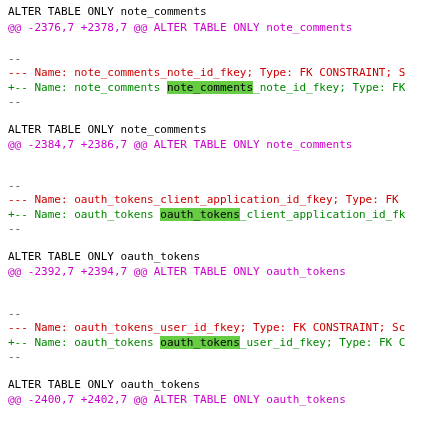ALTER TABLE ONLY note_comments
@@ -2376,7 +2378,7 @@ ALTER TABLE ONLY note_comments
--
--- Name: note_comments_note_id_fkey; Type: FK CONSTRAINT; S
+-- Name: note_comments note_comments_note_id_fkey; Type: FK
--
ALTER TABLE ONLY note_comments
@@ -2384,7 +2386,7 @@ ALTER TABLE ONLY note_comments
--
--- Name: oauth_tokens_client_application_id_fkey; Type: FK
+-- Name: oauth_tokens oauth_tokens_client_application_id_fk
--
ALTER TABLE ONLY oauth_tokens
@@ -2392,7 +2394,7 @@ ALTER TABLE ONLY oauth_tokens
--
--- Name: oauth_tokens_user_id_fkey; Type: FK CONSTRAINT; Sc
+-- Name: oauth_tokens oauth_tokens_user_id_fkey; Type: FK C
--
ALTER TABLE ONLY oauth_tokens
@@ -2400,7 +2402,7 @@ ALTER TABLE ONLY oauth_tokens